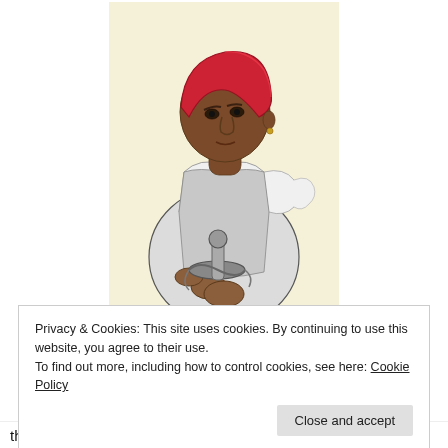[Figure (illustration): Colored pencil/ink illustration of a dark-skinned person wearing a red head covering and white ruffled colonial-era clothing, holding a sword at the hilt. Background is a pale cream/yellow. The figure faces slightly left with a serious expression.]
Privacy & Cookies: This site uses cookies. By continuing to use this website, you agree to their use.
To find out more, including how to control cookies, see here: Cookie Policy
the ill-fated Pánfilo de Narváez Expedition, contracted by